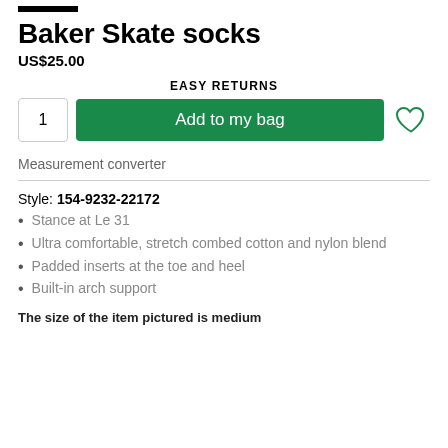Baker Skate socks
US$25.00
EASY RETURNS
1  Add to my bag
Measurement converter
Style: 154-9232-22172
Stance at Le 31
Ultra comfortable, stretch combed cotton and nylon blend
Padded inserts at the toe and heel
Built-in arch support
The size of the item pictured is medium